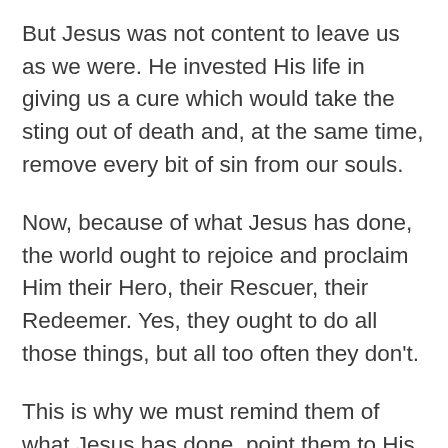But Jesus was not content to leave us as we were. He invested His life in giving us a cure which would take the sting out of death and, at the same time, remove every bit of sin from our souls.
Now, because of what Jesus has done, the world ought to rejoice and proclaim Him their Hero, their Rescuer, their Redeemer. Yes, they ought to do all those things, but all too often they don't.
This is why we must remind them of what Jesus has done, point them to His blood-bought cure, and encourage them to give thanks for the One who has taken the pain out of death and given